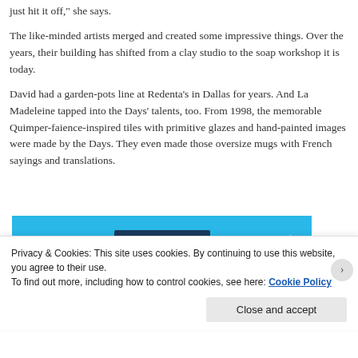just hit it off," she says.
The like-minded artists merged and created some impressive things. Over the years, their building has shifted from a clay studio to the soap workshop it is today.
David had a garden-pots line at Redenta’s in Dallas for years. And La Madeleine tapped into the Days’ talents, too. From 1998, the memorable Quimper-faience-inspired tiles with primitive glazes and hand-painted images were made by the Days. They even made those oversize mugs with French sayings and translations.
[Figure (other): Blue advertisement banner with white text reading 'app you’ll ever need.' with small star decorations and a dark button below]
Privacy & Cookies: This site uses cookies. By continuing to use this website, you agree to their use.
To find out more, including how to control cookies, see here: Cookie Policy
Close and accept